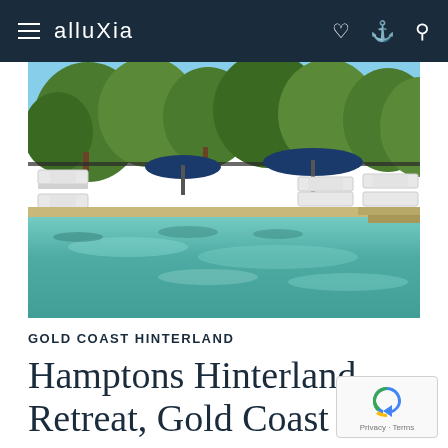alluXia
[Figure (photo): Outdoor swimming pool surrounded by white sun loungers and navy blue umbrellas, with lush green trees in the background. The pool has clear turquoise water reflecting the surroundings.]
GOLD COAST HINTERLAND
Hamptons Hinterland Retreat, Gold Coast